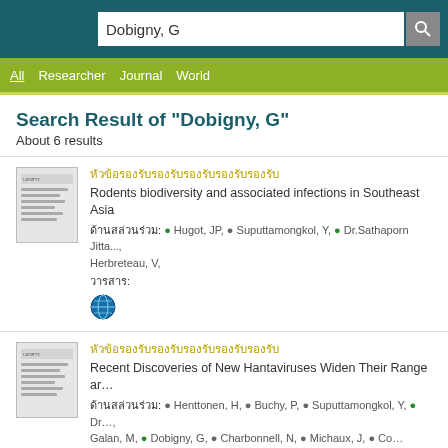Dobigny, G
All  Researcher  Journal  World
Search Result of "Dobigny, G"
About 6 results
Rodents biodiversity and associated infections in Southeast Asia
Hugot, JP, Suputtamongkol, Y, Dr.Sathaporn Jitta..., Herbreteau, V,
Recent Discoveries of New Hantaviruses Widen Their Range ar...
Henttonen, H, Buchy, P, Suputtamongkol, Y, Dr..., Galan, M, Dobigny, G, Charbonnell, N, Michaux, J, Co...
New hantavirus data for Asian rodents (Rodentia, Muridae) with...